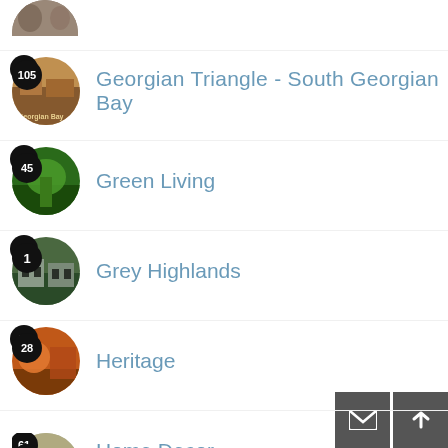(top partially visible item)
105 · Georgian Triangle - South Georgian Bay
45 · Green Living
1 · Grey Highlands
28 · Heritage
61 · Home Decor
5 · Home Staging
53 · Insider Secrets